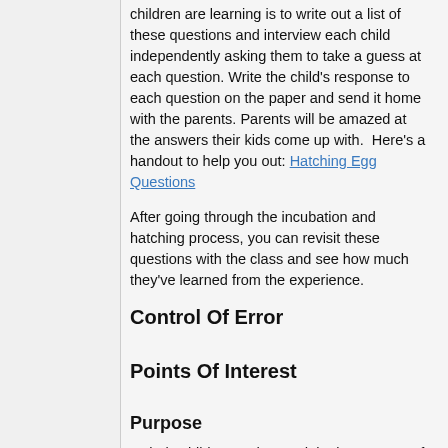children are learning is to write out a list of these questions and interview each child independently asking them to take a guess at each question. Write the child's response to each question on the paper and send it home with the parents. Parents will be amazed at the answers their kids come up with.  Here's a handout to help you out: Hatching Egg Questions
After going through the incubation and hatching process, you can revisit these questions with the class and see how much they've learned from the experience.
Control Of Error
Points Of Interest
Purpose
To help children understand the importance of carefully observing and caring for eggs and